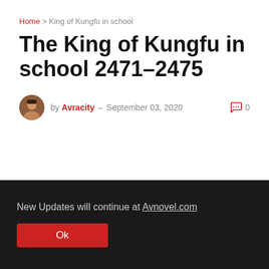Home > King of Kungfu in school
The King of Kungfu in school 2471–2475
by Avracity – September 03, 2020  0
New Updates will continue at Avnovel.com
Ok